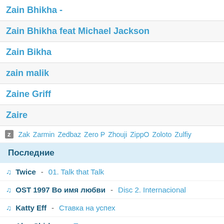Zain Bhikha -
Zain Bhikha feat Michael Jackson
Zain Bikha
zain malik
Zaine Griff
Zaire
z  Zak  Zarmin  Zedbaz  Zero P  Zhouji  ZippO  Zoloto  Zulfiy
Последние
Twice - 01. Talk that Talk
OST 1997 Во имя любви - Disc 2. Internacional
Katty Eff - Ставка на успех
Alex Shirkov - Ты уже не моя